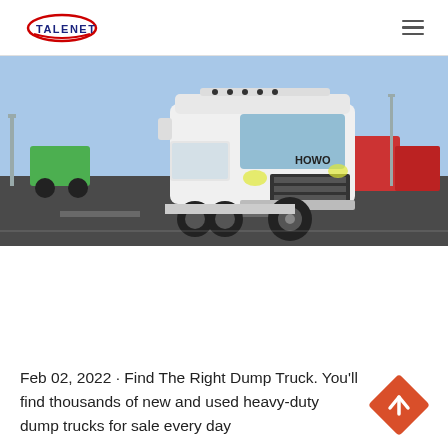TALENET
[Figure (photo): White HOWO heavy-duty truck cab parked in a large vehicle lot with other trucks and equipment in the background under a clear blue sky.]
Feb 02, 2022 · Find The Right Dump Truck. You'll find thousands of new and used heavy-duty dump trucks for sale every day